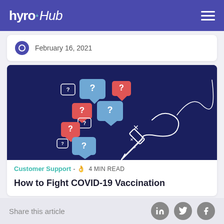hyro Hub
February 16, 2021
[Figure (illustration): Dark navy blue illustration showing chat bubbles with question marks (blue and red) on the left, and a hand holding a syringe on the right with a curvy line extending upward, representing COVID-19 vaccination questions/misinformation.]
Customer Support - 4 MIN READ
How to Fight COVID-19 Vaccination
Share this article